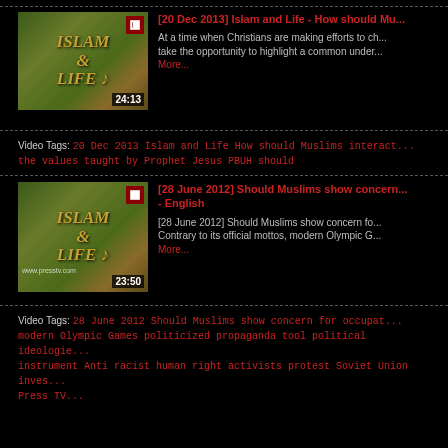[Figure (screenshot): Video thumbnail with Islam and Life text, duration 24:13]
[20 Dec 2013] Islam and Life - How should Mu...
At a time when Christians are making efforts to ch... take the opportunity to highlight a common under... More...
Video Tags: 20 Dec 2013 Islam and Life How should Muslims interact... the values taught by Prophet Jesus PBUH should
[Figure (screenshot): Video thumbnail with Islam and Life text, duration 23:50]
[28 June 2012] Should Muslims show concern... - English
[28 June 2012] Should Muslims show concern fo... Contrary to its official mottos, modern Olympic G... More...
Video Tags: 28 June 2012 Should Muslims show concern for occupat... modern Olympic Games politicized propaganda tool political ideologie... instrument Anti racist human right activists protest Soviet Union inves... Press TV...